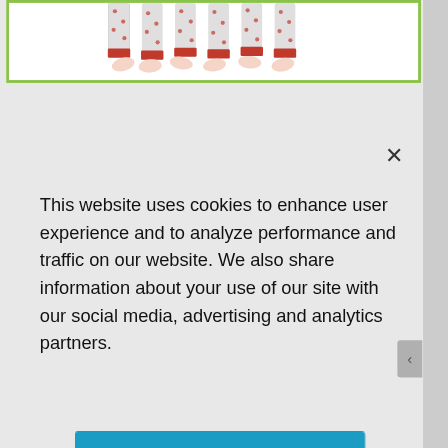[Figure (photo): Partial view of children in patterned pajamas, showing only their legs and feet, against a white background with an olive/green border. This is a product/advertisement image partially visible at the top of the page.]
×
This website uses cookies to enhance user experience and to analyze performance and traffic on our website. We also share information about your use of our site with our social media, advertising and analytics partners.
Accept Cookies
Cookie Preferences
Shop On
ADVERTISEMENT
By proceeding, you agree to our Privacy Policy and Terms of Use.